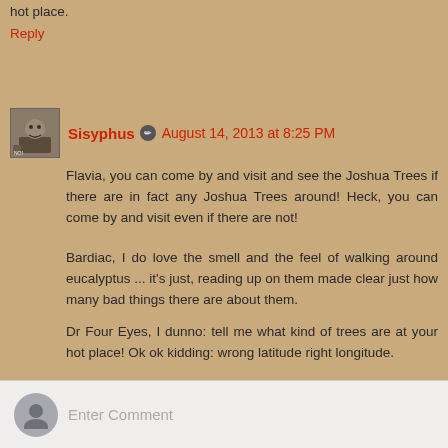I confess: I've been wondering if your hot place is near my hot place.
Reply
Sisyphus ✎  August 14, 2013 at 8:25 PM
Flavia, you can come by and visit and see the Joshua Trees if there are in fact any Joshua Trees around! Heck, you can come by and visit even if there are not!
Bardiac, I do love the smell and the feel of walking around eucalyptus ... it's just, reading up on them made clear just how many bad things there are about them.
Dr Four Eyes, I dunno: tell me what kind of trees are at your hot place! Ok ok kidding: wrong latitude right longitude.
Reply
Enter Comment